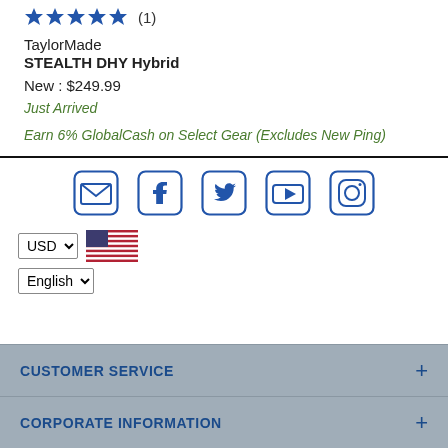[Figure (other): Five blue filled stars rating with review count (1) in parentheses]
TaylorMade
STEALTH DHY Hybrid
New : $249.99
Just Arrived
Earn 6% GlobalCash on Select Gear (Excludes New Ping)
[Figure (other): Social media icon bar with email, Facebook, Twitter, YouTube, and Instagram icons]
[Figure (other): USD currency selector with US flag and English language selector dropdown]
CUSTOMER SERVICE +
CORPORATE INFORMATION +